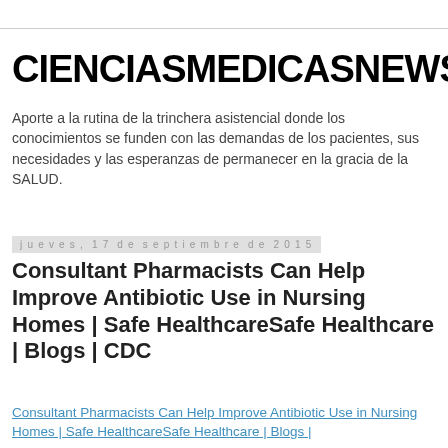CIENCIASMEDICASNEWS
Aporte a la rutina de la trinchera asistencial donde los conocimientos se funden con las demandas de los pacientes, sus necesidades y las esperanzas de permanecer en la gracia de la SALUD.
jueves, 17 de septiembre de 2015
Consultant Pharmacists Can Help Improve Antibiotic Use in Nursing Homes | Safe HealthcareSafe Healthcare | Blogs | CDC
Consultant Pharmacists Can Help Improve Antibiotic Use in Nursing Homes | Safe HealthcareSafe Healthcare | Blogs |